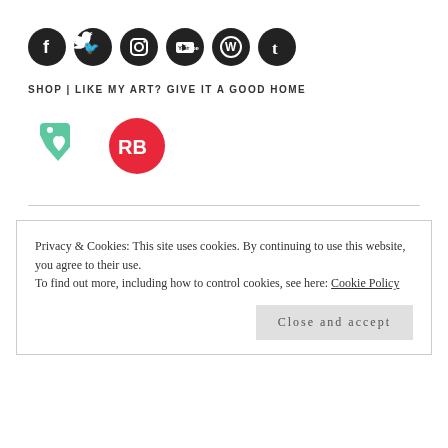[Figure (illustration): Row of six circular social media icons (Facebook, Twitter, Instagram, YouTube, WordPress, Tumblr) in dark/black circles with white logos]
SHOP | LIKE MY ART? GIVE IT A GOOD HOME
[Figure (logo): Two shop logos: a green heart-tag shape (Etsy-style) and a red circle with white 'RB' letters (Redbubble)]
Privacy & Cookies: This site uses cookies. By continuing to use this website, you agree to their use.
To find out more, including how to control cookies, see here: Cookie Policy
Close and accept